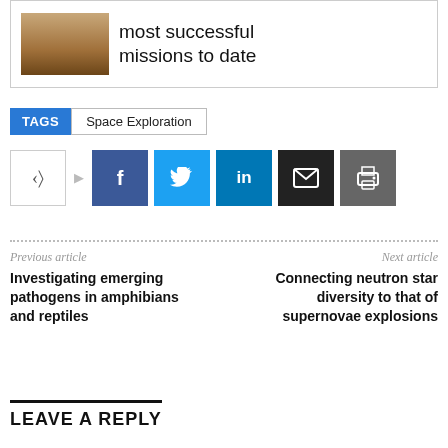[Figure (photo): Partial view of a card with a wooden surface image on the left and large text on the right reading 'most successful missions to date']
most successful missions to date
TAGS   Space Exploration
[Figure (infographic): Social share buttons row: share icon with arrow, Facebook, Twitter, LinkedIn, Email, Print]
Previous article
Investigating emerging pathogens in amphibians and reptiles
Next article
Connecting neutron star diversity to that of supernovae explosions
LEAVE A REPLY